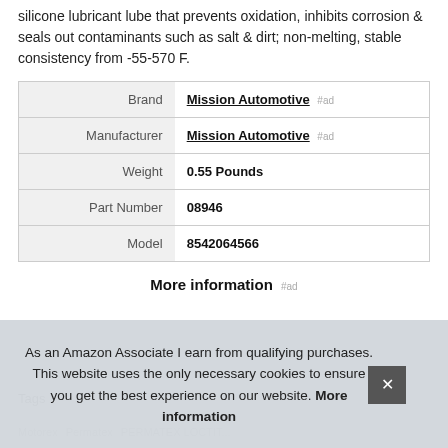silicone lubricant lube that prevents oxidation, inhibits corrosion & seals out contaminants such as salt & dirt; non-melting, stable consistency from -55-570 F.
|  |  |
| --- | --- |
| Brand | Mission Automotive #ad |
| Manufacturer | Mission Automotive #ad |
| Weight | 0.55 Pounds |
| Part Number | 08946 |
| Model | 8542064566 |
More information #ad
Tags
Motorex   Permatex   PERMATEX LOCTITE
As an Amazon Associate I earn from qualifying purchases. This website uses the only necessary cookies to ensure you get the best experience on our website. More information